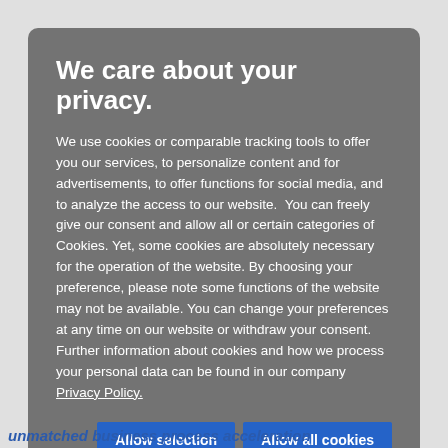We care about your privacy.
We use cookies or comparable tracking tools to offer you our services, to personalize content and for advertisements, to offer functions for social media, and to analyze the access to our website.  You can freely give our consent and allow all or certain categories of Cookies. Yet, some cookies are absolutely necessary for the operation of the website. By choosing your preference, please note some functions of the website may not be available. You can change your preferences at any time on our website or withdraw your consent. Further information about cookies and how we process your personal data can be found in our company Privacy Policy.
Necessary
Personalization
Analytics
Marketing
Show details
unmatched business process acceleration